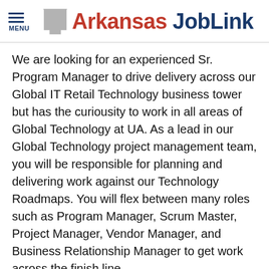MENU — Arkansas JobLink
We are looking for an experienced Sr. Program Manager to drive delivery across our Global IT Retail Technology business tower but has the curiousity to work in all areas of Global Technology at UA. As a lead in our Global Technology project management team, you will be responsible for planning and delivering work against our Technology Roadmaps. You will flex between many roles such as Program Manager, Scrum Master, Project Manager, Vendor Manager, and Business Relationship Manager to get work across the finish line.
We need someone who can develop strategies to achieve organizational goals. You are confident leading projects in business environments.